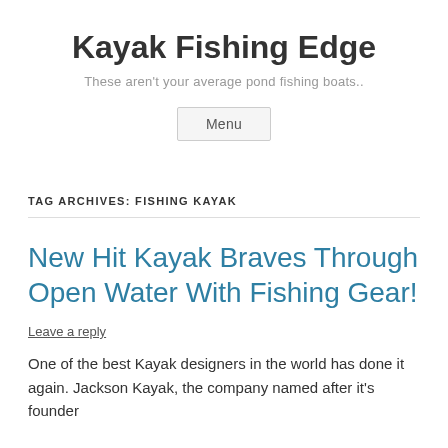Kayak Fishing Edge
These aren't your average pond fishing boats..
Menu
TAG ARCHIVES: FISHING KAYAK
New Hit Kayak Braves Through Open Water With Fishing Gear!
Leave a reply
One of the best Kayak designers in the world has done it again. Jackson Kayak, the company named after it's founder